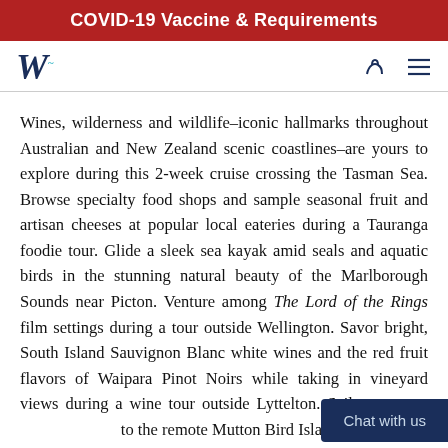COVID-19 Vaccine & Requirements
[Figure (logo): W logo with teal curl accent, phone icon, and hamburger menu icon in navy blue navigation bar]
Wines, wilderness and wildlife–iconic hallmarks throughout Australian and New Zealand scenic coastlines–are yours to explore during this 2-week cruise crossing the Tasman Sea. Browse specialty food shops and sample seasonal fruit and artisan cheeses at popular local eateries during a Tauranga foodie tour. Glide a sleek sea kayak amid seals and aquatic birds in the stunning natural beauty of the Marlborough Sounds near Picton. Venture among The Lord of the Rings film settings during a tour outside Wellington. Savor bright, South Island Sauvignon Blanc white wines and the red fruit flavors of Waipara Pinot Noirs while taking in vineyard views during a wine tour outside Lyttelton. Sail acr to the remote Mutton Bird Islands f